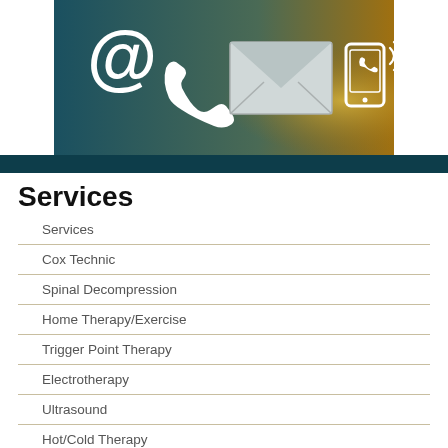[Figure (illustration): Contact/communication icons on a teal-to-gold gradient background: @ symbol, telephone handset, envelope/letter, mobile phone with signal waves]
Services
Services
Cox Technic
Spinal Decompression
Home Therapy/Exercise
Trigger Point Therapy
Electrotherapy
Ultrasound
Hot/Cold Therapy